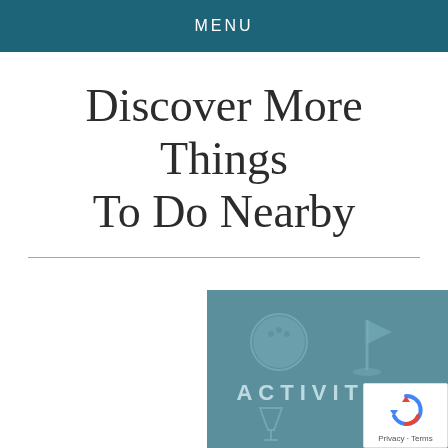MENU
Discover More Things To Do Nearby
[Figure (illustration): Teal/slate-blue card with the word ACTIVITIES in large spaced letters and icons of a bowling ball, golf flag, cocktail glass, and bicycle in a lighter teal overlay.]
[Figure (logo): Google reCAPTCHA badge with blue/red arrow icon and 'Privacy · Terms' text.]